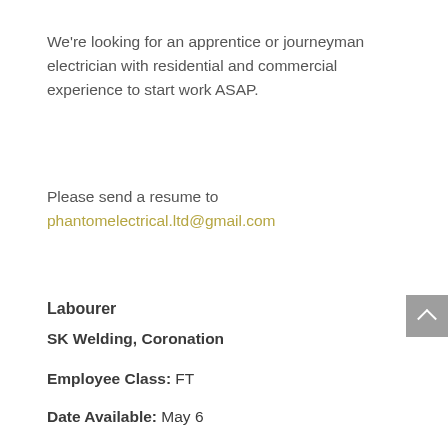We're looking for an apprentice or journeyman electrician with residential and commercial experience to start work ASAP.
Please send a resume to phantomelectrical.ltd@gmail.com
Labourer
SK Welding, Coronation
Employee Class: FT
Date Available: May 6